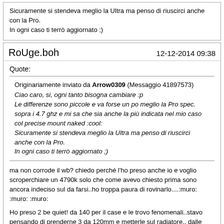Sicuramente si stendeva meglio la Ultra ma penso di riuscirci anche con la Pro.
In ogni caso ti terrò aggiornato ;)
RoUge.boh
12-12-2014 09:38
Quote:
Originariamente inviato da Arrow0309 (Messaggio 41897573)
Ciao caro, si, ogni tanto bisogna cambiare :p
Le differenze sono piccole e va forse un po meglio la Pro spec. sopra i 4.7 ghz e mi sa che sia anche la più indicata nel mio caso col precise mount naked :cool:
Sicuramente si stendeva meglio la Ultra ma penso di riuscirci anche con la Pro.
In ogni caso ti terrò aggiornato ;)
ma non corrode il wb? chiedo perché l'ho preso anche io e voglio scroperchiare un 4790k solo che come avevo chiesto prima sono ancora indeciso sul da farsi..ho troppa paura di rovinarlo....:muro: :muro: :muro:
Ho preso 2 be quiet! da 140 per il case e le trovo fenomenali..stavo pensando di prenderne 3 da 120mm e metterle sul radiatore.. dalle specifiche hanno una buona pressione a parità di giri.